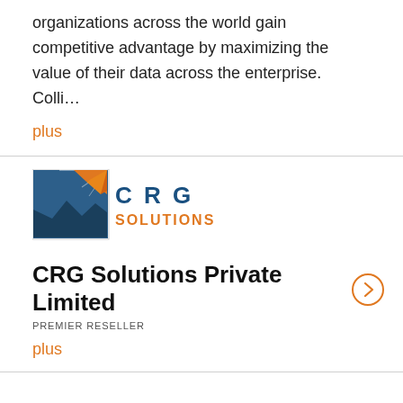organizations across the world gain competitive advantage by maximizing the value of their data across the enterprise. Colli…
plus
[Figure (logo): CRG Solutions logo with orange and blue sun/mountain graphic and text 'C R G SOLUTIONS']
CRG Solutions Private Limited
PREMIER RESELLER
plus
[Figure (logo): QADS logo in large thin black letters, with 'Powered by Qintess' tagline below]
CSC BRASIL